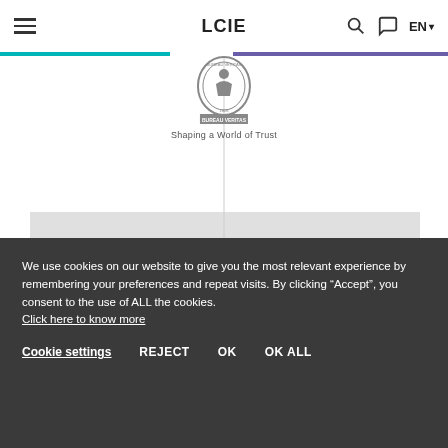LCIE | EN
[Figure (logo): Bureau Veritas logo with circular emblem and text 'BUREAU VERITAS / Shaping a World of Trust']
CERTIFICATION
We use cookies on our website to give you the most relevant experience by remembering your preferences and repeat visits. By clicking “Accept”, you consent to the use of ALL the cookies. Click here to know more
Cookie settings   REJECT   OK   OK ALL